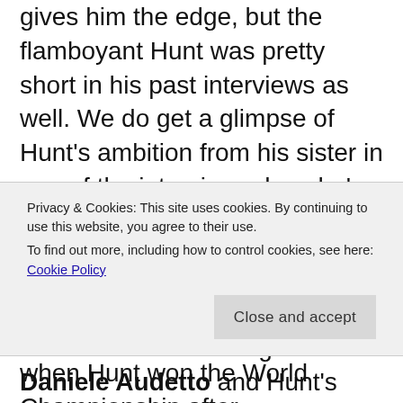gives him the edge, but the flamboyant Hunt was pretty short in his past interviews as well. We do get a glimpse of Hunt's ambition from his sister in one of the interviews, how he's got this single-minded drive to win the world championship.
We've got talking heads such as Lauda's Ferrari manager Daniele Audetto and Hunt's manager at McLaren Alastair Caldwell, providing eye-
Privacy & Cookies: This site uses cookies. By continuing to use this website, you agree to their use.
To find out more, including how to control cookies, see here: Cookie Policy
when Hunt won the World Championship after